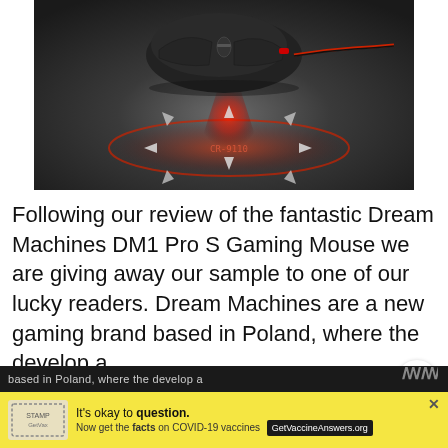[Figure (photo): Gaming mouse (Dream Machines DM1 Pro S) floating above a glowing red sensor light display on dark background, with directional arrows around the red glow]
Following our review of the fantastic Dream Machines DM1 Pro S Gaming Mouse we are giving away our sample to one of our lucky readers. Dream Machines are a new gaming brand based in Poland, where the develop a ...
[Figure (other): Yellow advertisement bar: 'It's okay to question. Now get the facts on COVID-19 vaccines' with GetVaccineAnswers.org button and close X icon]